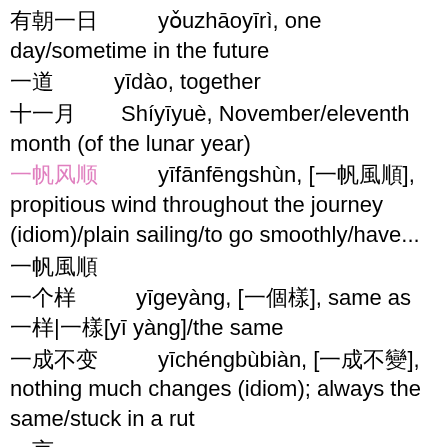有朝一日  yǒuzhāoyīrì, one day/sometime in the future
一道  yīdào, together
十一月  Shíyīyuè, November/eleventh month (of the lunar year)
一帆风顺  yīfānfēngshùn, [一帆風順], propitious wind throughout the journey (idiom)/plain sailing/to go smoothly/have...
一帆風順
一个样  yīgeyàng, [一個樣], same as 一样|一樣[yī yàng]/the same
一成不变  yīchéngbùbiàn, [一成不變], nothing much changes (idiom); always the same/stuck in a rut
一言不发  yīyánbùfā, [一言不發], to not say a word (idiom)
一触即发  yīchùjífā, [一觸即發], could happen at any...